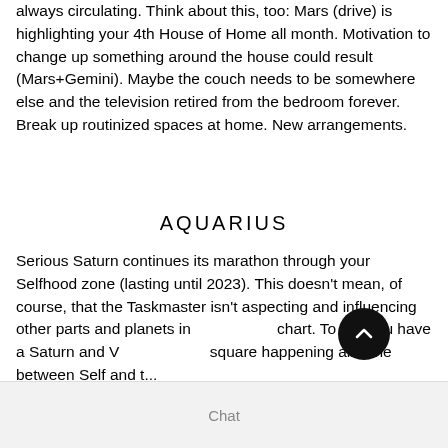always circulating. Think about this, too: Mars (drive) is highlighting your 4th House of Home all month. Motivation to change up something around the house could result (Mars+Gemini). Maybe the couch needs to be somewhere else and the television retired from the bedroom forever. Break up routinized spaces at home. New arrangements.
AQUARIUS
Serious Saturn continues its marathon through your Selfhood zone (lasting until 2023). This doesn't mean, of course, that the Taskmaster isn't aspecting and influencing other parts and planets in chart. To wit: you have a Saturn and V square happening all June between Self and t...
Chat